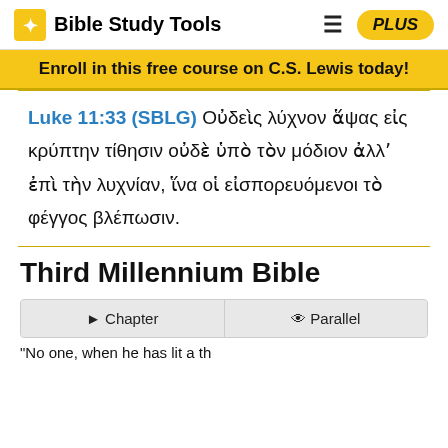Bible Study Tools
Enroll in this free course on C.S. Lewis today!
Luke 11:33 (SBLG) Οὐδεὶς λύχνον ἅψας εἰς κρύπτην τίθησιν οὐδὲ ὑπὸ τὸν μόδιον ἀλλʼ ἐπὶ τὴν λυχνίαν, ἵνα οἱ εἰσπορευόμενοι τὸ φέγγος βλέπωσιν.
Third Millennium Bible
Chapter   Parallel